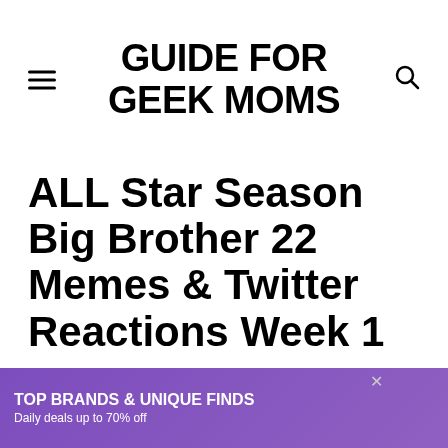GUIDE FOR GEEK MOMS
ALL Star Season Big Brother 22 Memes & Twitter Reactions Week 1
By: mandipie4u
Last updated: September 30, 2020
[Figure (screenshot): Advertisement banner: TOP BRANDS & UNIQUE FINDS - Daily deals up to 70% off - zulily SHOP NOW]